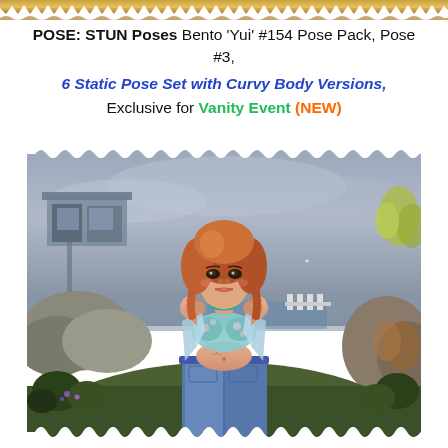[Figure (illustration): Decorative torn/jagged golden/brown border strip across the top of the page]
POSE:  STUN Poses Bento 'Yui' #154 Pose Pack, Pose #3,
6 Static Pose Set with Curvy Body Versions,
Exclusive for Vanity Event (NEW)
[Figure (photo): A 3D virtual world (Second Life) rendered female avatar with auburn/red hair, wearing an open light blue denim jacket over a floral bustier top and jeans, with a teal necklace/choker, posed with hands near collar against an outdoor scene with rocks, vegetation, water, and elevated platform structure in background. Image has a decorative scalloped/wavy white border.]